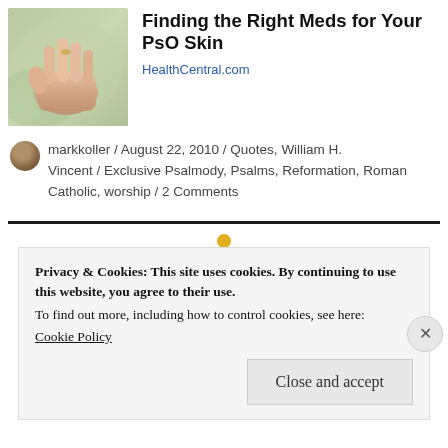[Figure (photo): Thumbnail image of a hand held open with a blurred green background, associated with an article about PsO skin medication]
Finding the Right Meds for Your PsO Skin
HealthCentral.com
markkoller / August 22, 2010 / Quotes, William H. Vincent / Exclusive Psalmody, Psalms, Reformation, Roman Catholic, worship / 2 Comments
Privacy & Cookies: This site uses cookies. By continuing to use this website, you agree to their use.
To find out more, including how to control cookies, see here:
Cookie Policy
Close and accept